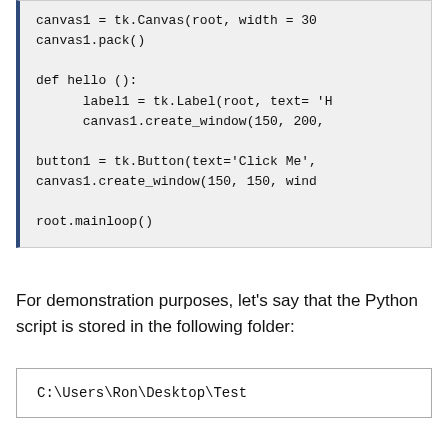canvas1 = tk.Canvas(root, width = 30
canvas1.pack()

def hello ():
    label1 = tk.Label(root, text= 'H
    canvas1.create_window(150, 200,

button1 = tk.Button(text='Click Me',
canvas1.create_window(150, 150, winc

root.mainloop()
For demonstration purposes, let’s say that the Python script is stored in the following folder:
C:\Users\Ron\Desktop\Test